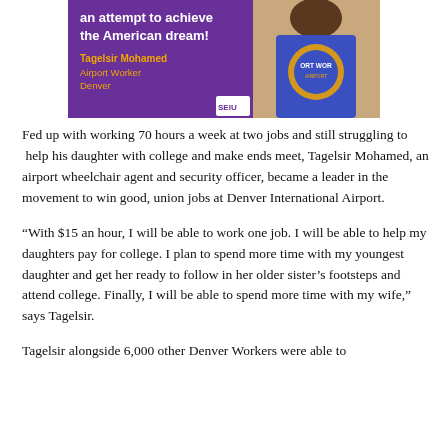[Figure (photo): Purple SEIU promotional graphic with text 'an attempt to achieve the American dream!' and name 'Tagelsir Mohamed, Airport Worker, Denver' alongside a photo of a man in a blue SEIU airport workers shirt]
Fed up with working 70 hours a week at two jobs and still struggling to  help his daughter with college and make ends meet, Tagelsir Mohamed, an airport wheelchair agent and security officer, became a leader in the movement to win good, union jobs at Denver International Airport.
“With $15 an hour, I will be able to work one job. I will be able to help my daughters pay for college. I plan to spend more time with my youngest daughter and get her ready to follow in her older sister’s footsteps and attend college. Finally, I will be able to spend more time with my wife,” says Tagelsir.
Tagelsir alongside 6,000 other Denver Workers were able to